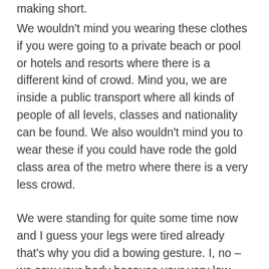making short.
We wouldn't mind you wearing these clothes if you were going to a private beach or pool or hotels and resorts where there is a different kind of crowd. Mind you, we are inside a public transport where all kinds of people of all levels, classes and nationality can be found. We also wouldn't mind you to wear these if you could have rode the gold class area of the metro where there is a very less crowd.
We were standing for quite some time now and I guess your legs were tired already that's why you did a bowing gesture. I, no – we saw your body because your very low and loose neckline showed everything to us. As for me, I wouldn't